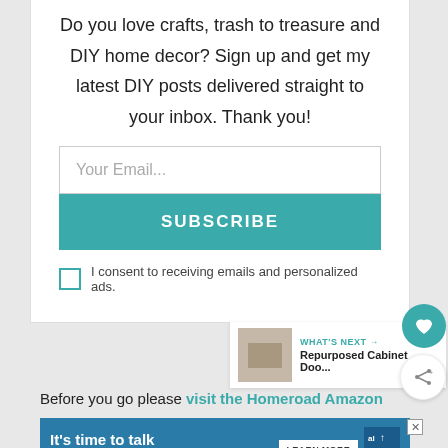Do you love crafts, trash to treasure and DIY home decor? Sign up and get my latest DIY posts delivered straight to your inbox. Thank you!
Your Email...
SUBSCRIBE
I consent to receiving emails and personalized ads.
WHAT'S NEXT → Repurposed Cabinet Doo...
Before you go please visit the Homeroad Amazon
[Figure (screenshot): Advertisement banner: It's time to talk about Alzheimer's. Learn More button, Alzheimer's Association logo.]